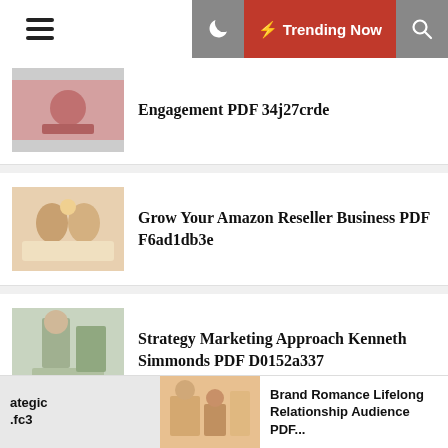Trending Now
Engagement PDF 34j27crde
Grow Your Amazon Reseller Business PDF F6ad1db3e
Strategy Marketing Approach Kenneth Simmonds PDF D0152a337
Attention Economy Understanding Currency Business PDF 72ce245cb
ategic .fc3
Brand Romance Lifelong Relationship Audience PDF...